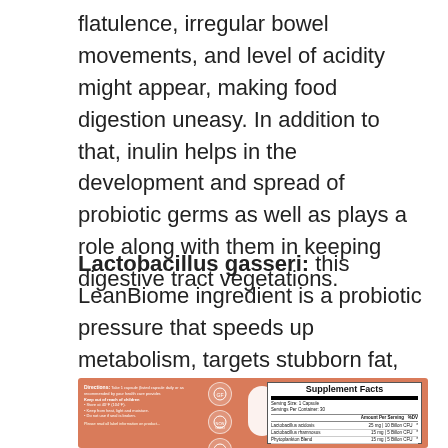flatulence, irregular bowel movements, and level of acidity might appear, making food digestion uneasy. In addition to that, inulin helps in the development and spread of probiotic germs as well as plays a role along with them in keeping digestive tract vegetations.
Lactobacillus gasseri: this LeanBiome ingredient is a probiotic pressure that speeds up metabolism, targets stubborn fat, and manages cravings entirely. It works with decreasing BMI as well as aids the body decrease one whole outfit size.
[Figure (photo): Supplement product label on salmon/terracotta background showing directions panel on left with icons, a white capsule pill in center, and Supplement Facts panel on the right listing Lactobacillus acidosis 25mg (10 Billon CFU), Lactobacillus rhamnosus 15mg (5 Billon CFU), Phytoplankton Blend 15mg (5 Billon CFU).]